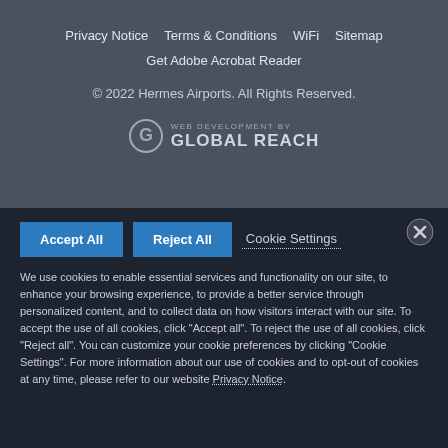Privacy Notice   Terms & Conditions   WiFi   Sitemap
Get Adobe Acrobat Reader
© 2022 Hermes Airports. All Rights Reserved.
[Figure (logo): Global Reach logo with circular G icon and text 'WEB DEVELOPMENT BY GLOBAL REACH']
Accept All   Reject All   Cookie Settings
We use cookies to enable essential services and functionality on our site, to enhance your browsing experience, to provide a better service through personalized content, and to collect data on how visitors interact with our site. To accept the use of all cookies, click "Accept all". To reject the use of all cookies, click "Reject all". You can customize your cookie preferences by clicking "Cookie Settings". For more information about our use of cookies and to opt-out of cookies at any time, please refer to our website Privacy Notice.